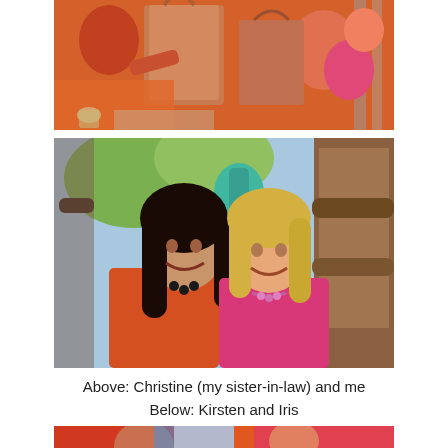[Figure (photo): Top photo partially cropped — group of people at outdoor setting, shopping bags visible, warm orange and pink tones]
[Figure (photo): Two women smiling outdoors — one with dark hair in orange top, one with blonde hair in pink top, rustic wooden structure behind them]
Above: Christine (my sister-in-law) and me
Below: Kirsten and Iris
[Figure (photo): Bottom photo partially visible — two people at outdoor event, colorful backgrounds, partially cropped at bottom of page]